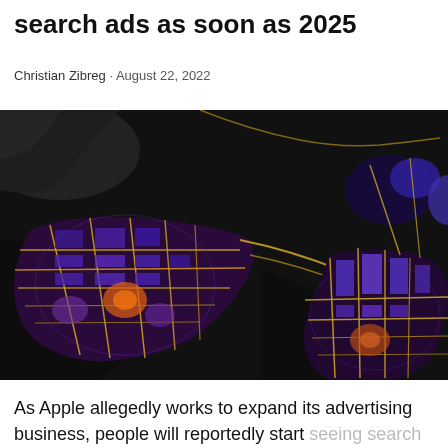search ads as soon as 2023
Christian Zibreg · August 22, 2022
[Figure (map): Satellite/thermal map view showing city road networks glowing in purple, blue, yellow and orange colors against a dark background, showing two urban areas separated by water.]
As Apple allegedly works to expand its advertising business, people will reportedly start seeing search ads on Apple Maps as soon as 2023.